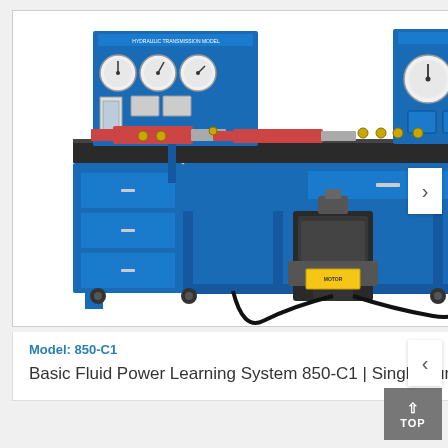[Figure (photo): Blue hydraulic fluid power learning system workbench (Model 850-C1) with two instrument panels mounted on vertical posts, pressure gauges, hydraulic cylinders on the work surface, a hydraulic power unit at the front center, and a storage cabinet with drawers on the left side. The bench is mounted on casters.]
Model: 850-C1
Basic Fluid Power Learning System 850-C1 | Single Surface Bench